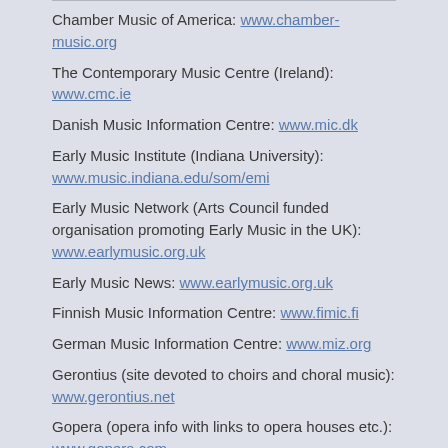Chamber Music of America: www.chamber-music.org
The Contemporary Music Centre (Ireland): www.cmc.ie
Danish Music Information Centre: www.mic.dk
Early Music Institute (Indiana University): www.music.indiana.edu/som/emi
Early Music Network (Arts Council funded organisation promoting Early Music in the UK): www.earlymusic.org.uk
Early Music News: www.earlymusic.org.uk
Finnish Music Information Centre: www.fimic.fi
German Music Information Centre: www.miz.org
Gerontius (site devoted to choirs and choral music): www.gerontius.net
Gopera (opera info with links to opera houses etc.): www.gopera.com
Gregorian Association (promoting the study and practice of plainsong): www.beaufort.demon.co.uk/chant.htm
Historic Opera: www.historicopera.com